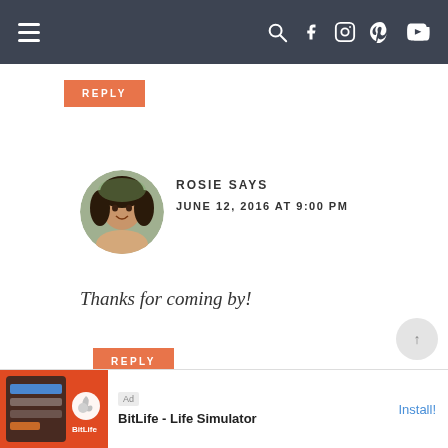Navigation bar with hamburger menu and social icons
REPLY
[Figure (photo): Avatar photo of Rosie, a woman with curly dark hair outdoors]
ROSIE SAYS
JUNE 12, 2016 AT 9:00 PM
Thanks for coming by!
REPLY
[Figure (infographic): BitLife - Life Simulator advertisement banner at the bottom of the page with Install button]